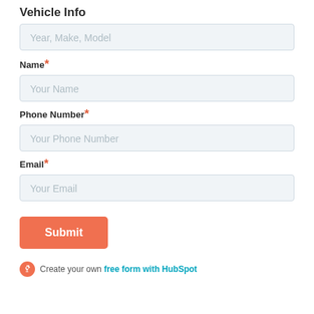Vehicle Info
Year, Make, Model
Name*
Your Name
Phone Number*
Your Phone Number
Email*
Your Email
Submit
Create your own free form with HubSpot